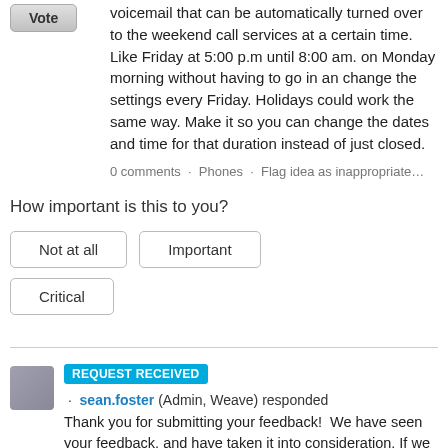voicemail that can be automatically turned over to the weekend call services at a certain time. Like Friday at 5:00 p.m until 8:00 am. on Monday morning without having to go in an change the settings every Friday. Holidays could work the same way. Make it so you can change the dates and time for that duration instead of just closed.
0 comments · Phones · Flag idea as inappropriate…
How important is this to you?
Not at all
Important
Critical
REQUEST RECEIVED · sean.foster (Admin, Weave) responded
Thank you for submitting your feedback!  We have seen your feedback, and have taken it into consideration. If we have any additional questions, concerns, or updates; those that are